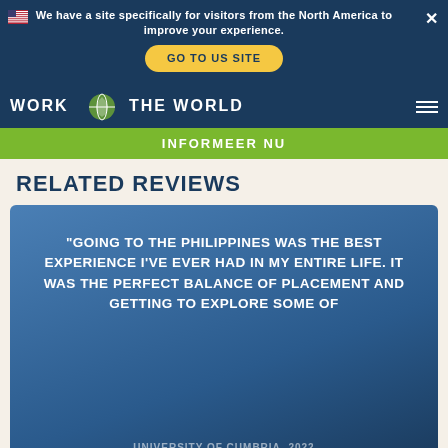We have a site specifically for visitors from the North America to improve your experience.
GO TO US SITE
INFORMEER NU
RELATED REVIEWS
"GOING TO THE PHILIPPINES WAS THE BEST EXPERIENCE I'VE EVER HAD IN MY ENTIRE LIFE. IT WAS THE PERFECT BALANCE OF PLACEMENT AND GETTING TO EXPLORE SOME OF
UNIVERSITY OF CUMBRIA, 2022
CONTINUE
We use cookies to improve your experience using this site. If you continue to use the site, we will assume that you agree to us using cookies. To find out more read our cookie policy.